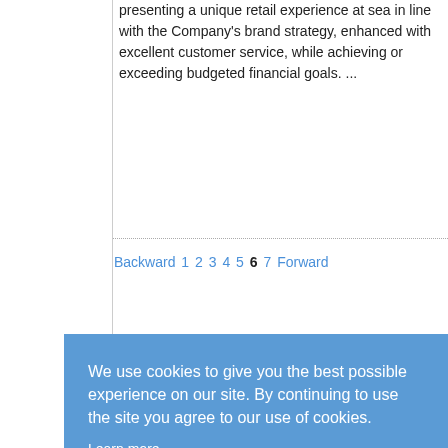presenting a unique retail experience at sea in line with the Company's brand strategy, enhanced with excellent customer service, while achieving or exceeding budgeted financial goals. ...
Backward 1 2 3 4 5 6 7 Forward
We use cookies to give you the best possible experience on our site. By continuing to use the site you agree to our use of cookies.
Learn more
Got it!
Copyright © 2022 Seamax International Cr Ship Employment Services - All rights rese…